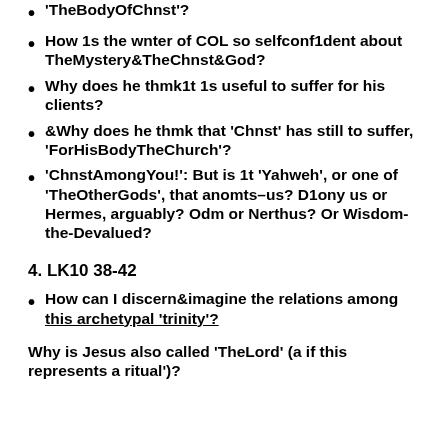'TheBodyOfChnst'?
How 1s the wnter of COL so selfconf1dent about TheMystery&TheChnst&God?
Why does he thmk1t 1s useful to suffer for his clients?
&Why does he thmk that 'Chnst' has still to suffer, 'ForHisBodyTheChurch'?
'ChnstAmongYou!': But is 1t 'Yahweh', or one of 'TheOtherGods', that anomts-us? D1ony us or Hermes, arguably? Odm or Nerthus? Or Wisdom-the-Devalued?
4. LK10 38-42
How can I discern&imagine the relations among this archetypal 'trinity'?
Why is Jesus also called 'TheLord' (a if this represents a ritual')?